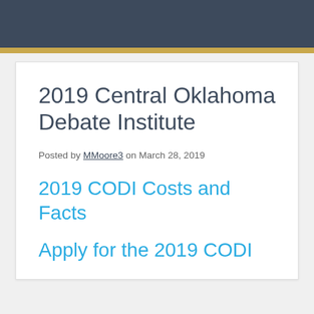2019 Central Oklahoma Debate Institute
Posted by MMoore3 on March 28, 2019
2019 CODI Costs and Facts
Apply for the 2019 CODI